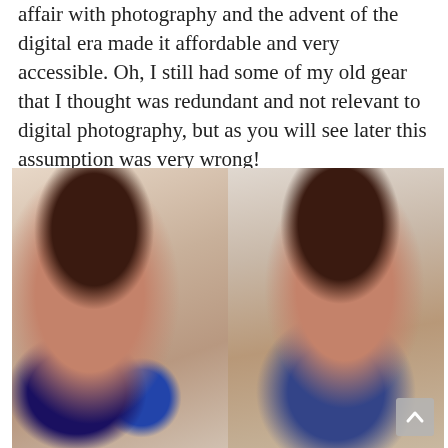affair with photography and the advent of the digital era made it affordable and very accessible. Oh, I still had some of my old gear that I thought was redundant and not relevant to digital photography, but as you will see later this assumption was very wrong!
[Figure (photo): Two side-by-side vintage photographs of a woman with curly dark hair, wearing 1980s-style clothing with blue accents. Left photo shows a three-quarter profile view; right photo shows a more frontal view. A scroll-to-top button is visible in the bottom-right corner.]